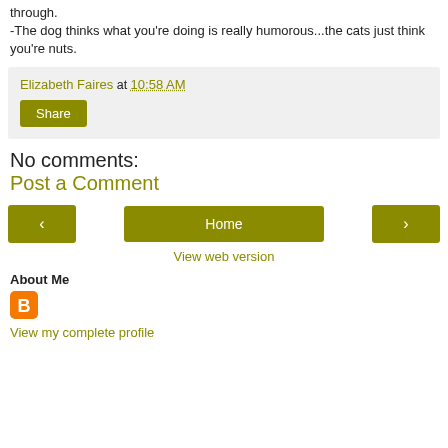through.
-The dog thinks what you're doing is really humorous...the cats just think you're nuts.
Elizabeth Faires at 10:58 AM
Share
No comments:
Post a Comment
[Figure (other): Navigation buttons: left arrow, Home, right arrow]
View web version
About Me
[Figure (logo): Blogger orange B icon]
View my complete profile